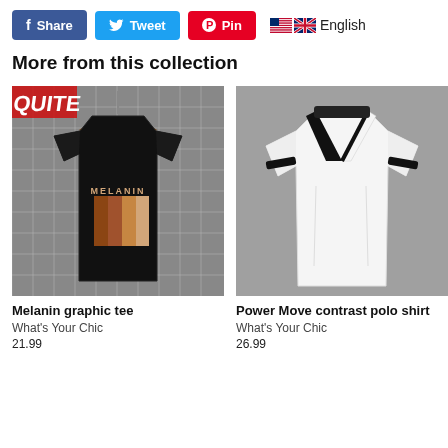[Figure (screenshot): Social share buttons: Facebook Share (blue), Twitter Tweet (light blue), Pinterest Pin (red), and English language selector with US and UK flags]
More from this collection
[Figure (photo): Black graphic t-shirt with MELANIN text and color stripe bars on a hanger against grid background]
[Figure (photo): White polo shirt with black V-neck contrast trim and black sleeve cuffs on gray background]
Melanin graphic tee
What's Your Chic
21.99
Power Move contrast polo shirt
What's Your Chic
26.99